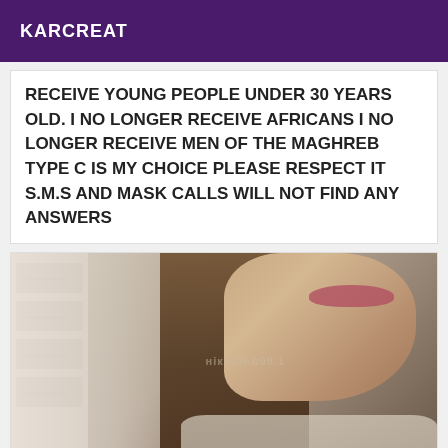KARCREAT
RECEIVE YOUNG PEOPLE UNDER 30 YEARS OLD. I NO LONGER RECEIVE AFRICANS I NO LONGER RECEIVE MEN OF THE MAGHREB TYPE C IS MY CHOICE PLEASE RESPECT IT S.M.S AND MASK CALLS WILL NOT FIND ANY ANSWERS
[Figure (photo): Photo of a woman with dark hair and pearl necklace, wearing light-colored clothing, with watermark overlay]